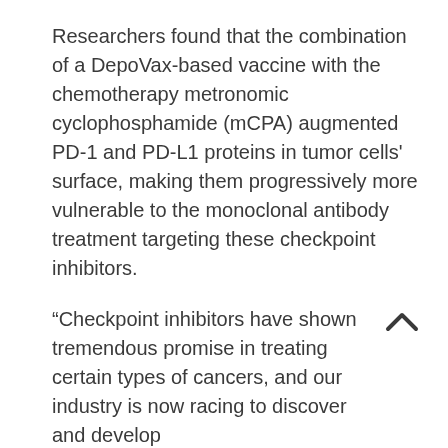Researchers found that the combination of a DepoVax-based vaccine with the chemotherapy metronomic cyclophosphamide (mCPA) augmented PD-1 and PD-L1 proteins in tumor cells' surface, making them progressively more vulnerable to the monoclonal antibody treatment targeting these checkpoint inhibitors.
“Checkpoint inhibitors have shown tremendous promise in treating certain types of cancers, and our industry is now racing to discover and develop